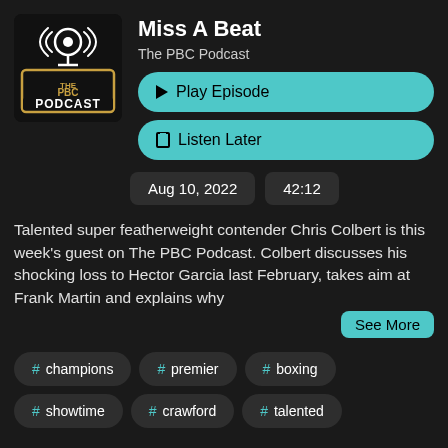[Figure (logo): PBC Podcast logo: dark background with microphone icon and golden rectangular border, text 'PBC PODCAST']
Miss A Beat
The PBC Podcast
▶ Play Episode
🔖 Listen Later
Aug 10, 2022
42:12
Talented super featherweight contender Chris Colbert is this week's guest on The PBC Podcast. Colbert discusses his shocking loss to Hector Garcia last February, takes aim at Frank Martin and explains why
See More
# champions
# premier
# boxing
# showtime
# crawford
# talented